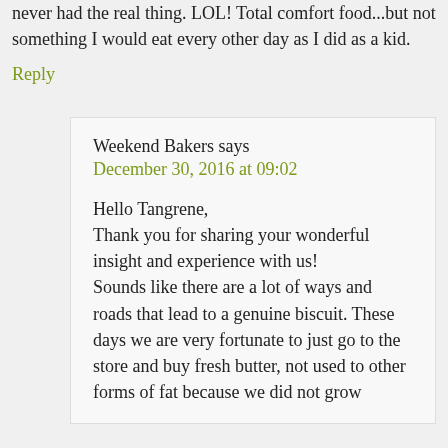never had the real thing. LOL! Total comfort food...but not something I would eat every other day as I did as a kid.
Reply
Weekend Bakers says
December 30, 2016 at 09:02
Hello Tangrene,
Thank you for sharing your wonderful insight and experience with us!
Sounds like there are a lot of ways and roads that lead to a genuine biscuit. These days we are very fortunate to just go to the store and buy fresh butter, not used to other forms of fat because we did not grow